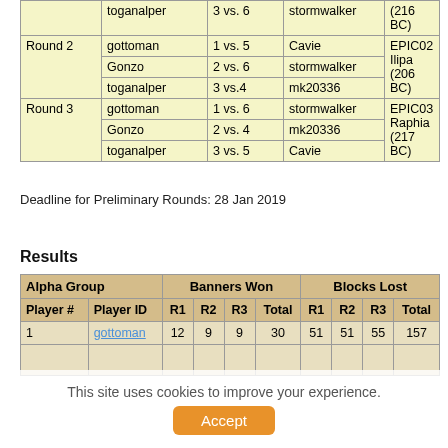|  | Player | Match | Opponent | Battle |
| --- | --- | --- | --- | --- |
|  | toganalper | 3 vs. 6 | stormwalker | (216 BC) |
| Round 2 | gottoman | 1 vs. 5 | Cavie | EPIC02 |
| Round 2 | Gonzo | 2 vs. 6 | stormwalker | Ilipa (206 BC) |
| Round 2 | toganalper | 3 vs.4 | mk20336 |  |
| Round 3 | gottoman | 1 vs. 6 | stormwalker | EPIC03 |
| Round 3 | Gonzo | 2 vs. 4 | mk20336 | Raphia (217 BC) |
| Round 3 | toganalper | 3 vs. 5 | Cavie |  |
Deadline for Preliminary Rounds: 28 Jan 2019
Results
| Alpha Group |  | Banners Won |  |  |  | Blocks Lost |  |  |  |
| --- | --- | --- | --- | --- | --- | --- | --- | --- | --- |
| Player # | Player ID | R1 | R2 | R3 | Total | R1 | R2 | R3 | Total |
| 1 | gottoman | 12 | 9 | 9 | 30 | 51 | 51 | 55 | 157 |